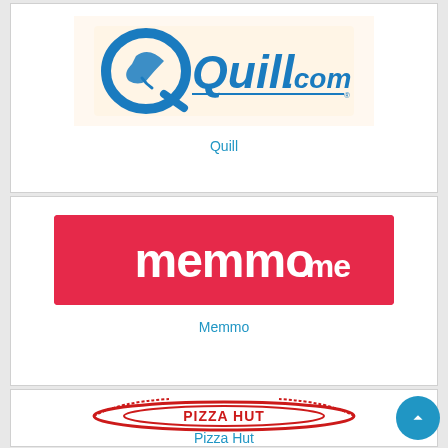[Figure (logo): Quill.com logo — blue stylized Q with quill pen, text 'Quill.com' in blue on light orange/cream background]
Quill
[Figure (logo): memmo.me logo — white lowercase 'memmo.me' text on red/crimson rectangular background]
Memmo
[Figure (logo): Pizza Hut logo — red circular logo with Pizza Hut text]
Pizza Hut